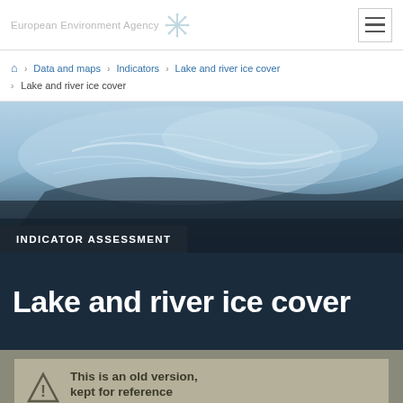European Environment Agency [logo] [hamburger menu]
🏠 > Data and maps > Indicators > Lake and river ice cover > Lake and river ice cover
[Figure (photo): Close-up photograph of ice on water, light blue and white icy surface with swirling texture. Banner overlay reading 'INDICATOR ASSESSMENT'.]
Lake and river ice cover
This is an old version, kept for reference